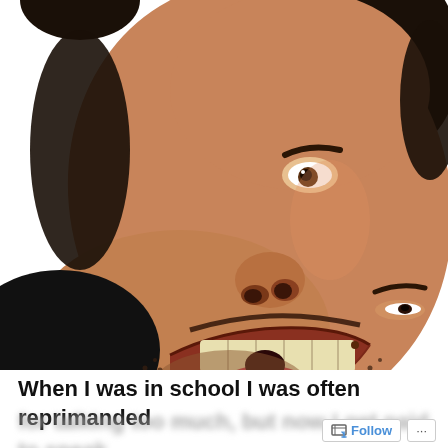[Figure (photo): Close-up photo of a man with his head tilted, mouth wide open shouting or screaming, with stubble beard, dark hair, against a white background]
When I was in school I was often reprimanded
[blurred continuation text]